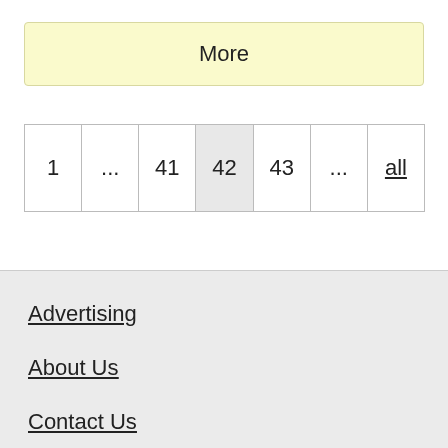More
1
...
41
42
43
...
all
Advertising
About Us
Contact Us